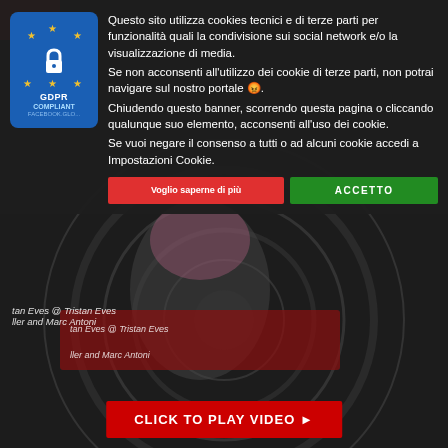[Figure (screenshot): GDPR Compliant badge with EU stars and lock icon on blue background]
Questo sito utilizza cookies tecnici e di terze parti per funzionalità quali la condivisione sui social network e/o la visualizzazione di media. Se non acconsenti all'utilizzo dei cookie di terze parti, non potrai navigare sul nostro portale 😩. Chiudendo questo banner, scorrendo questa pagina o cliccando qualunque suo elemento, acconsenti all'uso dei cookie. Se vuoi negare il consenso a tutti o ad alcuni cookie accedi a Impostazioni Cookie.
Voglio saperne di più
ACCETTO
[Figure (photo): DJ with pink hair and headphones, vinyl record turntable visible]
tan Eves @ Tristan Eves
ller and Marc Antoni
CLICK TO PLAY VIDEO ▶